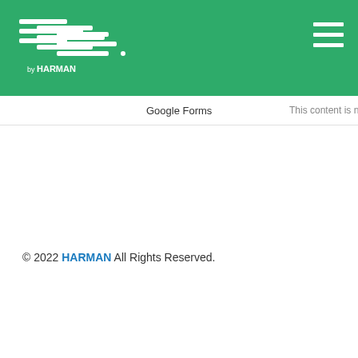[Figure (logo): BSS by HARMAN logo in white on green header bar]
Google Forms  This content is neither created nor endorsed
© 2022 HARMAN All Rights Reserved.